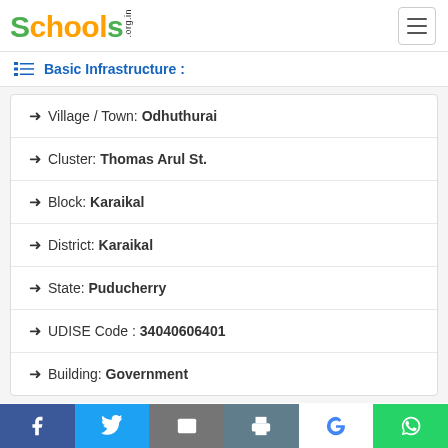Schools.org.in
Basic Infrastructure :
Village / Town: Odhuthurai
Cluster: Thomas Arul St.
Block: Karaikal
District: Karaikal
State: Puducherry
UDISE Code : 34040606401
Building: Government
Facebook Twitter Email Print Google WhatsApp